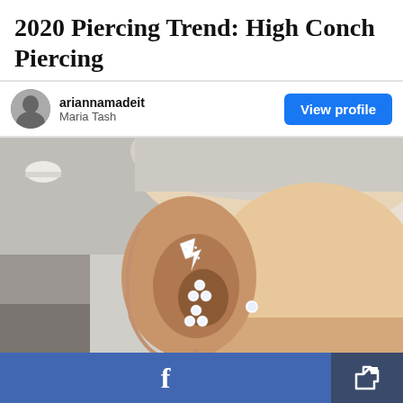2020 Piercing Trend: High Conch Piercing
ariannamadeit
Maria Tash
[Figure (photo): Close-up photo of a person's ear with multiple silver piercings including a lightning bolt shaped barbell in the conch area and flower/diamond cluster earrings in the lobe, shown from behind the head with short light hair]
Facebook share button and share/export button